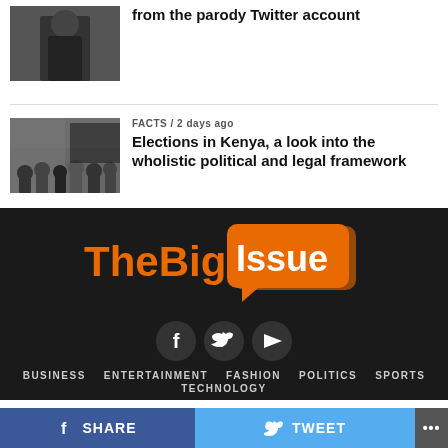[Figure (photo): Person in dark clothing, partial view]
from the parody Twitter account
[Figure (photo): Crowd of people at a public gathering or political event in Kenya]
FACTS / 2 days ago
Elections in Kenya, a look into the wholistic political and legal framework
[Figure (logo): TheBigIssue logo — orange speech bubble with white text on dark background]
[Figure (infographic): Social media icons: Facebook, Twitter, YouTube on dark circular backgrounds]
BUSINESS   ENTERTAINMENT   FASHION   POLITICS   SPORTS   TECHNOLOGY
SHARE   TWEET   ...